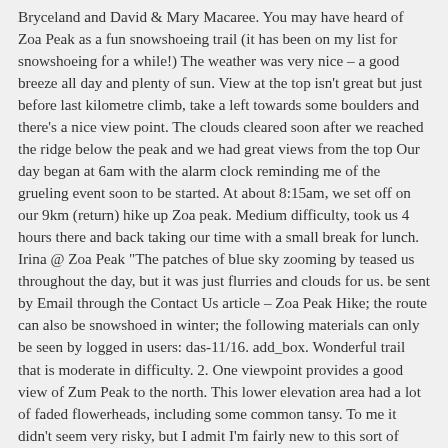Bryceland and David & Mary Macaree. You may have heard of Zoa Peak as a fun snowshoeing trail (it has been on my list for snowshoeing for a while!) The weather was very nice – a good breeze all day and plenty of sun. View at the top isn't great but just before last kilometre climb, take a left towards some boulders and there's a nice view point. The clouds cleared soon after we reached the ridge below the peak and we had great views from the top Our day began at 6am with the alarm clock reminding me of the grueling event soon to be started. At about 8:15am, we set off on our 9km (return) hike up Zoa peak. Medium difficulty, took us 4 hours there and back taking our time with a small break for lunch. Irina @ Zoa Peak "The patches of blue sky zooming by teased us throughout the day, but it was just flurries and clouds for us. be sent by Email through the Contact Us article – Zoa Peak Hike; the route can also be snowshoed in winter; the following materials can only be seen by logged in users: das-11/16. add_box. Wonderful trail that is moderate in difficulty. 2. One viewpoint provides a good view of Zum Peak to the north. This lower elevation area had a lot of faded flowerheads, including some common tansy. To me it didn't seem very risky, but I admit I'm fairly new to this sort of thing and don't have any training with regards to avalanche safety (yet). Doug writes for Kamloops Trails, a not-for-profit (read: volunteer) initiative. To view information on all...